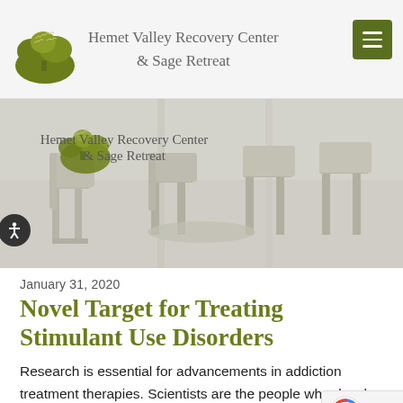Hemet Valley Recovery Center & Sage Retreat
[Figure (photo): Hero banner image showing empty chairs in a circle, with the Hemet Valley Recovery Center & Sage Retreat logo overlaid on the left side. Faded/washed-out appearance.]
January 31, 2020
Novel Target for Treating Stimulant Use Disorders
Research is essential for advancements in addiction treatment therapies. Scientists are the people who develop medications to help treat alcohol and